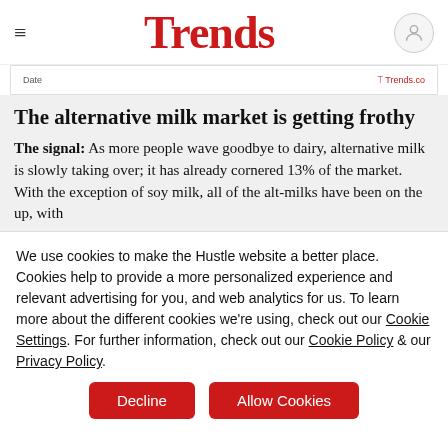Trends
[Figure (screenshot): Partial chart strip showing 'Data' label and 'Trends.co' branding]
The alternative milk market is getting frothy
The signal: As more people wave goodbye to dairy, alternative milk is slowly taking over; it has already cornered 13% of the market. With the exception of soy milk, all of the alt-milks have been on the up, with
We use cookies to make the Hustle website a better place. Cookies help to provide a more personalized experience and relevant advertising for you, and web analytics for us. To learn more about the different cookies we're using, check out our Cookie Settings. For further information, check out our Cookie Policy & our Privacy Policy.